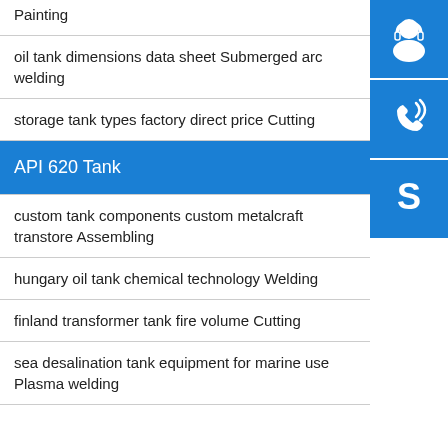Painting
oil tank dimensions data sheet Submerged arc welding
storage tank types factory direct price Cutting
API 620 Tank
custom tank components custom metalcraft transtore Assembling
hungary oil tank chemical technology Welding
finland transformer tank fire volume Cutting
sea desalination tank equipment for marine use Plasma welding
[Figure (illustration): Customer service icon - blue square with white headset/person silhouette]
[Figure (illustration): Phone call icon - blue square with white phone/signal icon]
[Figure (illustration): Skype icon - blue square with white Skype 'S' logo]